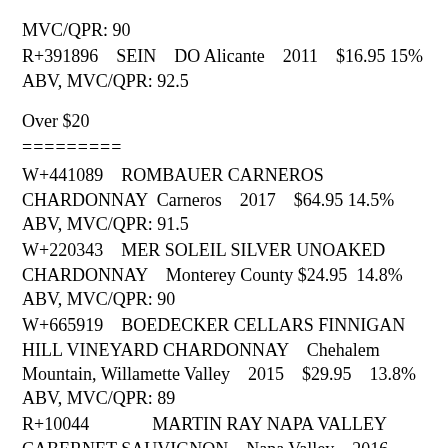MVC/QPR: 90
R+391896    SEIN    DO Alicante    2011    $16.95 15% ABV, MVC/QPR: 92.5
Over $20
=========
W+441089    ROMBAUER CARNEROS CHARDONNAY  Carneros    2017    $64.95 14.5% ABV, MVC/QPR: 91.5
W+220343    MER SOLEIL SILVER UNOAKED CHARDONNAY    Monterey County $24.95  14.8% ABV, MVC/QPR: 90
W+665919    BOEDECKER CELLARS FINNIGAN HILL VINEYARD CHARDONNAY    Chehalem Mountain, Willamette Valley    2015    $29.95    13.8% ABV, MVC/QPR: 89
R+10044            MARTIN RAY NAPA VALLEY CABERNET SAUVIGNON    Napa Valley    2016    $44.95 14.6% ABV, MVC/QPR: 89